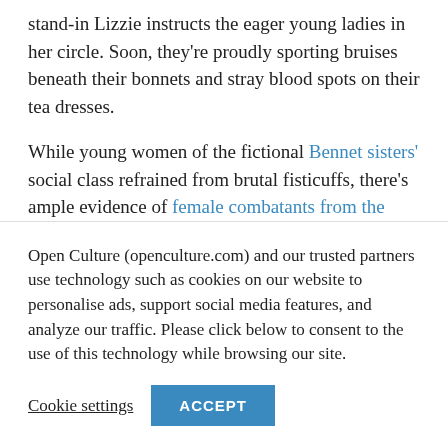stand-in Lizzie instructs the eager young ladies in her circle. Soon, they're proudly sporting bruises beneath their bonnets and stray blood spots on their tea dresses.
While young women of the fictional Bennet sisters' social class refrained from brutal fisticuffs, there's ample evidence of female combatants from the proletarian ranks. They fought for money, and occasionally to settle a disagreement, training hard
Open Culture (openculture.com) and our trusted partners use technology such as cookies on our website to personalise ads, support social media features, and analyze our traffic. Please click below to consent to the use of this technology while browsing our site.
Cookie settings
ACCEPT